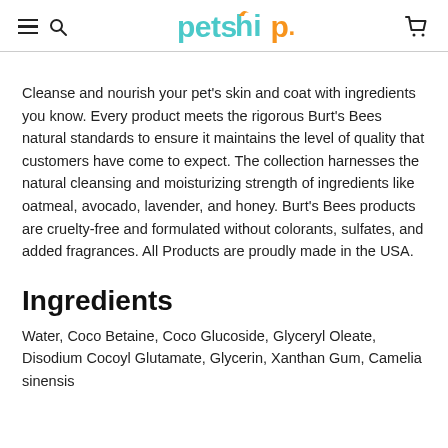petship. [navigation header with hamburger menu, search, and cart icons]
Cleanse and nourish your pet's skin and coat with ingredients you know. Every product meets the rigorous Burt's Bees natural standards to ensure it maintains the level of quality that customers have come to expect. The collection harnesses the natural cleansing and moisturizing strength of ingredients like oatmeal, avocado, lavender, and honey. Burt's Bees products are cruelty-free and formulated without colorants, sulfates, and added fragrances. All Products are proudly made in the USA.
Ingredients
Water, Coco Betaine, Coco Glucoside, Glyceryl Oleate, Disodium Cocoyl Glutamate, Glycerin, Xanthan Gum, Camelia sinensis